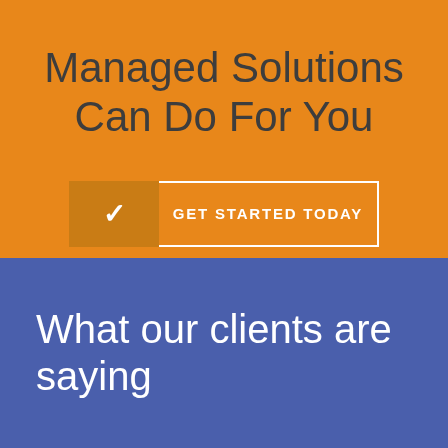Managed Solutions Can Do For You
GET STARTED TODAY
What our clients are saying